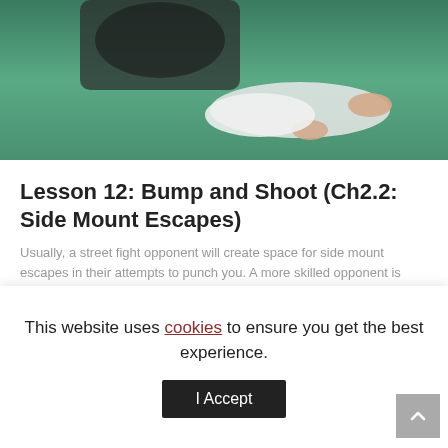[Figure (photo): Martial arts / BJJ scene showing two people on a green mat, one person lying down wearing white gi pants, barefoot, with another person in black top visible at top]
Lesson 12: Bump and Shoot (Ch2.2: Side Mount Escapes)
Usually, a street fight opponent will create space for side mount escapes in their attempts to punch you. A more skilled opponent is primarily concerned with controlling the position, so it is less likely that they will allow space for your escape. In this situation, use the Bump and Shoot variation of the Shrimp ...
ADD LESSON TO CART
This website uses cookies to ensure you get the best experience.
I Accept